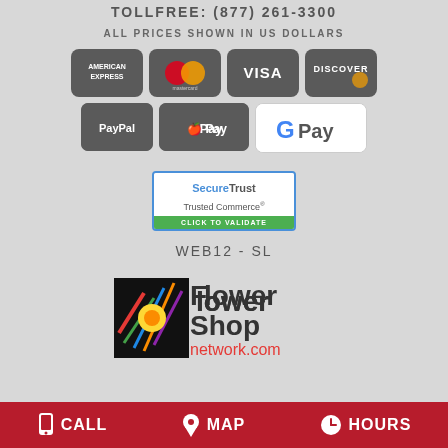TOLLFREE: (877) 261-3300
ALL PRICES SHOWN IN US DOLLARS
[Figure (infographic): Payment method icons: American Express, Mastercard, Visa, Discover, PayPal, Apple Pay, Google Pay]
[Figure (logo): SecureTrust Trusted Commerce - Click to Validate badge]
WEB12-SL
[Figure (logo): Flower Shop Network .com logo]
CALL   MAP   HOURS